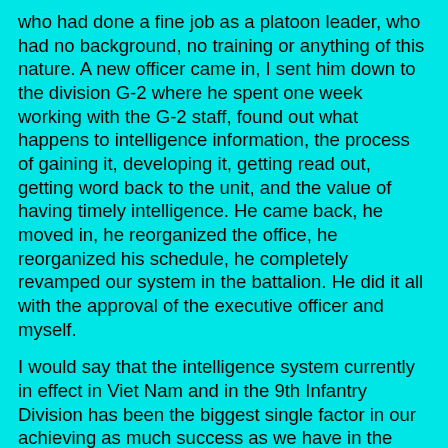who had done a fine job as a platoon leader, who had no background, no training or anything of this nature. A new officer came in, I sent him down to the division G-2 where he spent one week working with the G-2 staff, found out what happens to intelligence information, the process of gaining it, developing it, getting read out, getting word back to the unit, and the value of having timely intelligence. He came back, he moved in, he reorganized the office, he reorganized his schedule, he completely revamped our system in the battalion. He did it all with the approval of the executive officer and myself.
I would say that the intelligence system currently in effect in Viet Nam and in the 9th Infantry Division has been the biggest single factor in our achieving as much success as we have in the past six months.
MAJ KEELEY: Sir, what would you consider your battalion's most significant accomplishments during your tour?
LTC SMITH: I would say the getting off of the static missions to conduct offensive operations and raise the morale of the individual soldier here in the battalion. It may be hard to visualize for many but that I would say is the most significant accomplishment. The division lives by statistics. Sometimes